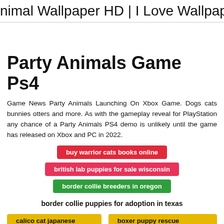nimal Wallpaper HD | I Love Wallpap
Party Animals Game Ps4
Game News Party Animals Launching On Xbox Game. Dogs cats bunnies otters and more. As with the gameplay reveal for PlayStation any chance of a Party Animals PS4 demo is unlikely until the game has released on Xbox and PC in 2022.
buy warrior cats books online
british lab puppies for sale wisconsin
border collie breeders in oregon
border collie puppies for adoption in texas
calico cat japanese name
boxer puppy rescue maryland